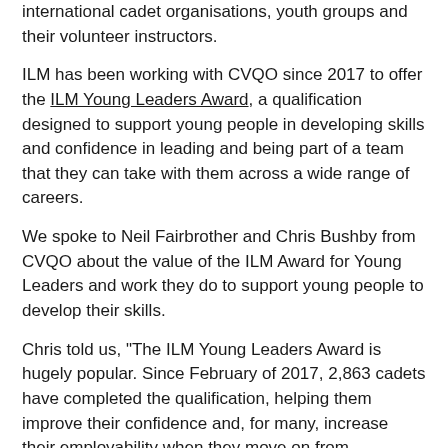international cadet organisations, youth groups and their volunteer instructors.
ILM has been working with CVQO since 2017 to offer the ILM Young Leaders Award, a qualification designed to support young people in developing skills and confidence in leading and being part of a team that they can take with them across a wide range of careers.
We spoke to Neil Fairbrother and Chris Bushby from CVQO about the value of the ILM Award for Young Leaders and work they do to support young people to develop their skills.
Chris told us, "The ILM Young Leaders Award is hugely popular. Since February of 2017, 2,863 cadets have completed the qualification, helping them improve their confidence and, for many, increase their employability when they move on from education."
Vital life skills